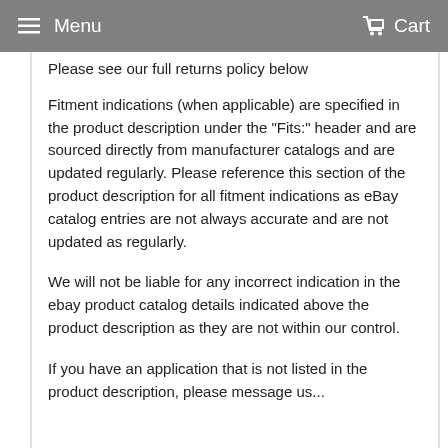Menu   Cart
Please see our full returns policy below
Fitment indications (when applicable) are specified in the product description under the "Fits:" header and are sourced directly from manufacturer catalogs and are updated regularly. Please reference this section of the product description for all fitment indications as eBay catalog entries are not always accurate and are not updated as regularly.
We will not be liable for any incorrect indication in the ebay product catalog details indicated above the product description as they are not within our control.
If you have an application that is not listed in the product description, please message us...